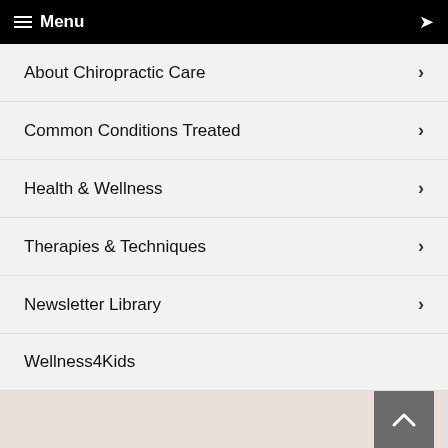Menu
About Chiropractic Care
Common Conditions Treated
Health & Wellness
Therapies & Techniques
Newsletter Library
Wellness4Kids
Testimonials